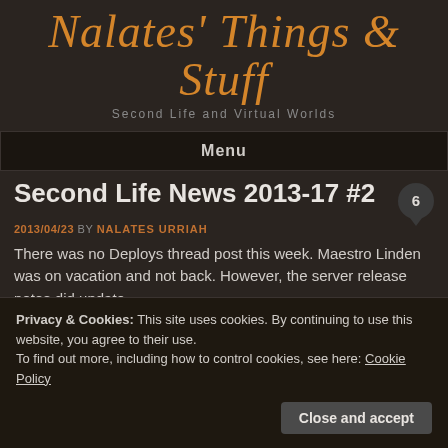Nalates Things & Stuff
Second Life and Virtual Worlds
Menu
Second Life News 2013-17 #2
2013/04/23 BY NALATES URRIAH
There was no Deploys thread post this week. Maestro Linden was on vacation and not back. However, the server release notes did update.
Privacy & Cookies: This site uses cookies. By continuing to use this website, you agree to their use. To find out more, including how to control cookies, see here: Cookie Policy